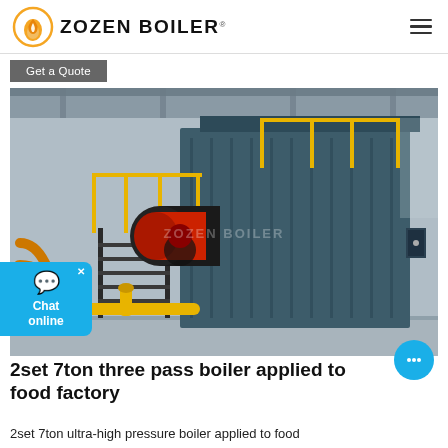ZOZEN BOILER
Get a Quote
[Figure (photo): Industrial boiler installation in a factory — a large teal/dark-blue three-pass boiler unit with yellow safety railings, a red and black burner assembly, yellow piping and gas lines, and metal staircases inside a warehouse. Watermark reads ZOZEN BOILER.]
2set 7ton three pass boiler applied to food factory
2set 7ton ultra-high pressure boiler applied to food